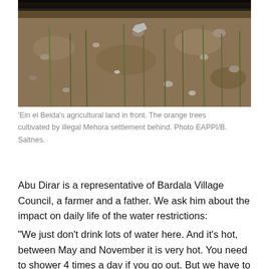[Figure (photo): Dry agricultural land with sparse thin stick-like plant stems in rocky brown soil, with irrigation tubes visible along the top. Background shows more cultivated land.]
'Ein el Beida's agricultural land in front. The orange trees cultivated by illegal Mehora settlement behind. Photo EAPPI/B. Saltnes.
Abu Dirar is a representative of Bardala Village Council, a farmer and a father. We ask him about the impact on daily life of the water restrictions:
“We just don't drink lots of water here. And it's hot, between May and November it is very hot. You need to shower 4 times a day if you go out. But we have to go 2 or 3 days without a shower. We joke about it, but it is a